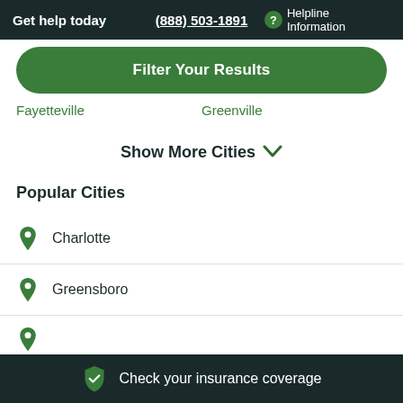Get help today  (888) 503-1891  Helpline Information
Filter Your Results
Fayetteville  Greenville
Show More Cities
Popular Cities
Charlotte
Greensboro
Check your insurance coverage